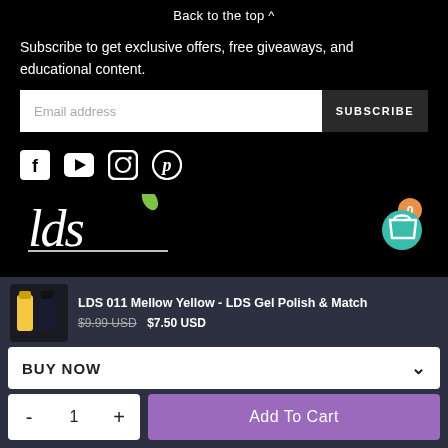Back to the top ^
Subscribe to get exclusive offers, free giveaways, and educational content.
[Figure (screenshot): Email address input field with SUBSCRIBE button]
[Figure (logo): Social media icons: Facebook, YouTube, Instagram, Pinterest]
[Figure (logo): LDS Lavis Dip Systems logo in white script with green leaf accent]
[Figure (screenshot): Product sticky bar: LDS 011 Mellow Yellow product image, title, prices $9.99 USD strikethrough and $7.50 USD, BUY NOW dropdown, quantity selector and Add To Cart button]